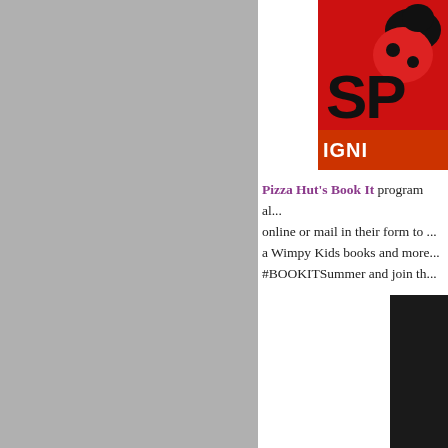[Figure (illustration): Partial view of a book cover or promotional graphic showing a red and black character on white background with text 'SP' and 'IGNI' visible, cut off at right edge]
Pizza Hut's Book It program al... online or mail in their form to ... a Wimpy Kids books and more... #BOOKITSummer and join th...
[Figure (photo): Dark/black image partially visible at bottom right corner of the page]